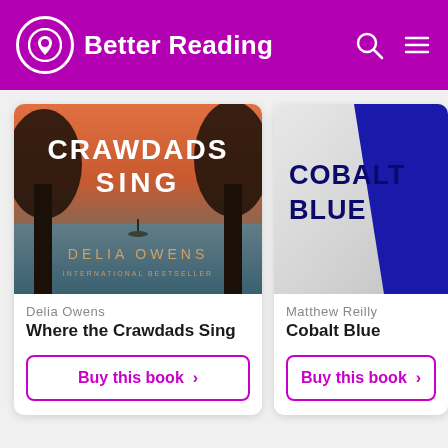Better Reading
[Figure (photo): Book cover: Where the Crawdads Sing by Delia Owens — atmospheric marsh scene at sunset with silhouetted trees and lone figure in a boat, text CRAWDADS SING, DELIA OWENS, INTERNATIONAL BESTSELLER]
Delia Owens
Where the Crawdads Sing
Buy this book ›
[Figure (photo): Book cover: Cobalt Blue by Matthew Reilly — white textured background with diagonal dark blue stripe, text COBALT BLUE in navy bold font]
Matthew Reilly
Cobalt Blue
Buy this book ›